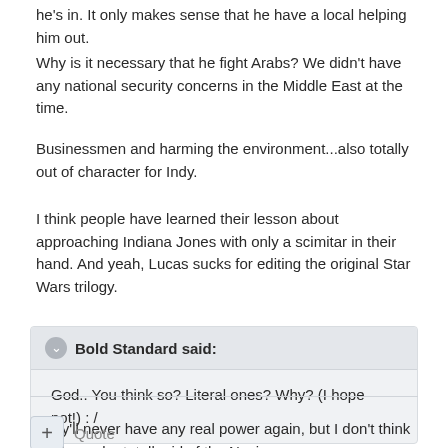he's in. It only makes sense that he have a local helping him out.
Why is it necessary that he fight Arabs? We didn't have any national security concerns in the Middle East at the time.
Businessmen and harming the environment...also totally out of character for Indy.
I think people have learned their lesson about approaching Indiana Jones with only a scimitar in their hand. And yeah, Lucas sucks for editing the original Star Wars trilogy.
Bold Standard said: God.. You think so? Literal ones? Why? (I hope not!) : /
They'll never have any real power again, but I don't think we'll ever be totally rid of the Nazis.